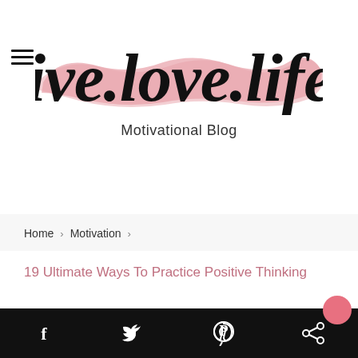[Figure (logo): Live.Love.Life. Motivational Blog logo with handwritten script text on a pink brush stroke background]
Home › Motivation ›
19 Ultimate Ways To Practice Positive Thinking
Social sharing bar with Facebook, Twitter, Pinterest, and Share icons